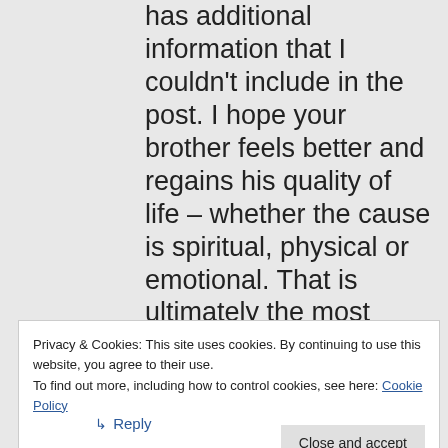has additional information that I couldn't include in the post. I hope your brother feels better and regains his quality of life – whether the cause is spiritual, physical or emotional. That is ultimately the most important thing. I hope this can be of some help, and best wishes to you and your brother.
Privacy & Cookies: This site uses cookies. By continuing to use this website, you agree to their use.
To find out more, including how to control cookies, see here: Cookie Policy
Close and accept
↳ Reply